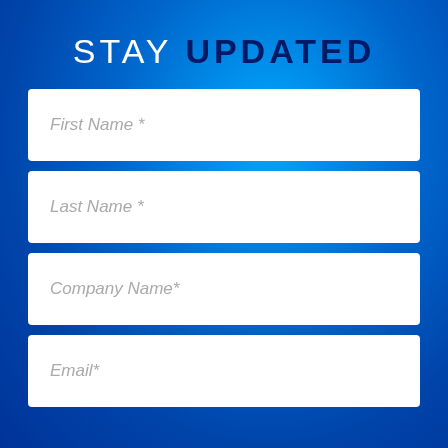STAY UPDATED
First Name *
Last Name *
Company Name*
Email*